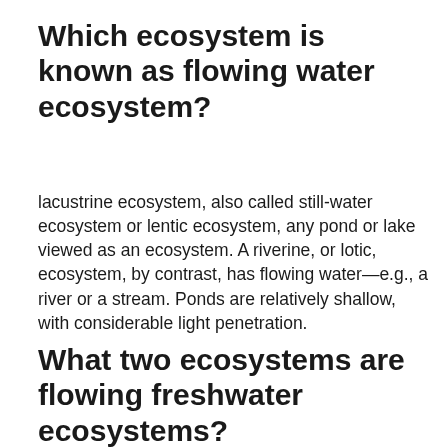Which ecosystem is known as flowing water ecosystem?
lacustrine ecosystem, also called still-water ecosystem or lentic ecosystem, any pond or lake viewed as an ecosystem. A riverine, or lotic, ecosystem, by contrast, has flowing water—e.g., a river or a stream. Ponds are relatively shallow, with considerable light penetration.
What two ecosystems are flowing freshwater ecosystems?